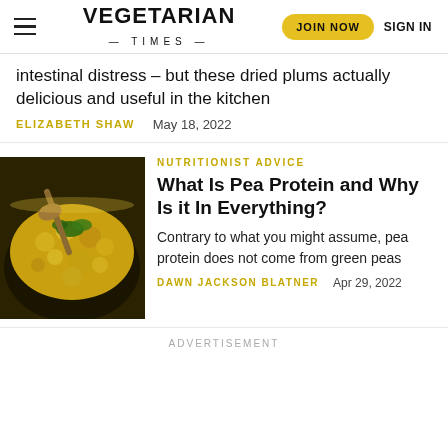VEGETARIAN TIMES | JOIN NOW | SIGN IN
intestinal distress – but these dried plums actually delicious and useful in the kitchen
ELIZABETH SHAW    May 18, 2022
[Figure (photo): A bowl of yellow lentil or chickpea curry dish being scooped with a spoon, garnished with herbs, in a dark bowl]
NUTRITIONIST ADVICE
What Is Pea Protein and Why Is it In Everything?
Contrary to what you might assume, pea protein does not come from green peas
DAWN JACKSON BLATNER    Apr 29, 2022
ADVERTISEMENT